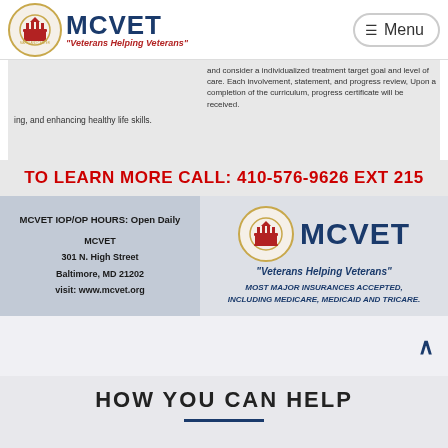MCVET - Veterans Helping Veterans | Menu
ing, and enhancing healthy life skills.
certificate will be received.
TO LEARN MORE CALL: 410-576-9626 EXT 215
MCVET IOP/OP HOURS: Open Daily
MCVET
301 N. High Street
Baltimore, MD 21202
visit: www.mcvet.org
[Figure (logo): MCVET logo with wreath and tagline Veterans Helping Veterans, text: MOST MAJOR INSURANCES ACCEPTED, INCLUDING MEDICARE, MEDICAID AND TRICARE.]
HOW YOU CAN HELP